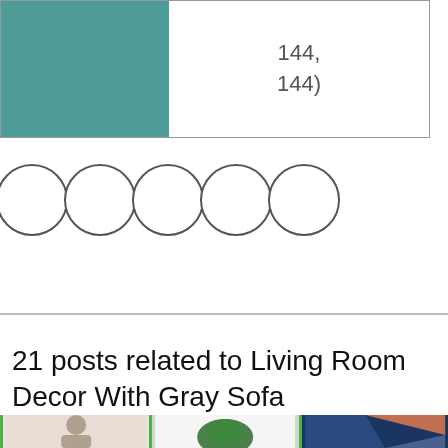| [teal color swatch] | 144,
144) |
[Figure (other): Five empty circles arranged horizontally in a row, representing color/style swatches or pagination indicators]
21 posts related to Living Room Decor With Gray Sofa
[Figure (photo): Bottom strip showing three image panels: a person silhouette on light background, a monstera/tropical leaf on white, and abstract blue geometric shapes]